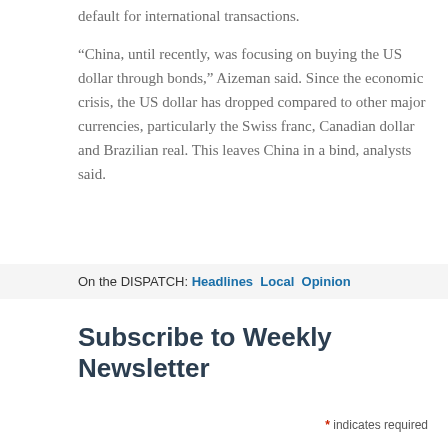default for international transactions.
“China, until recently, was focusing on buying the US dollar through bonds,” Aizeman said. Since the economic crisis, the US dollar has dropped compared to other major currencies, particularly the Swiss franc, Canadian dollar and Brazilian real. This leaves China in a bind, analysts said.
On the DISPATCH: Headlines  Local  Opinion
Subscribe to Weekly Newsletter
* indicates required